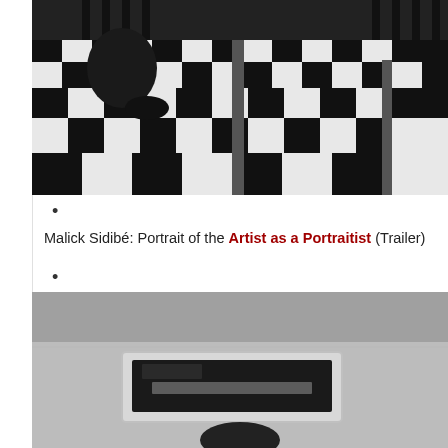[Figure (photo): Black and white photograph showing a checkerboard floor pattern with chair legs and a person's lower body visible, cropped at top.]
•
Malick Sidibé: Portrait of the Artist as a Portraitist (Trailer)
•
[Figure (photo): Black and white photograph showing a light gray wall and what appears to be a television or monitor screen, with a dark figure at the bottom.]